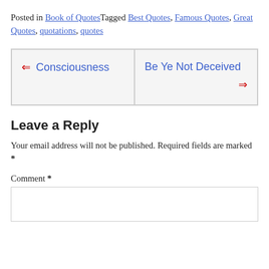Posted in Book of QuotesTagged Best Quotes, Famous Quotes, Great Quotes, quotations, quotes
← Consciousness | Be Ye Not Deceived →
Leave a Reply
Your email address will not be published. Required fields are marked *
Comment *